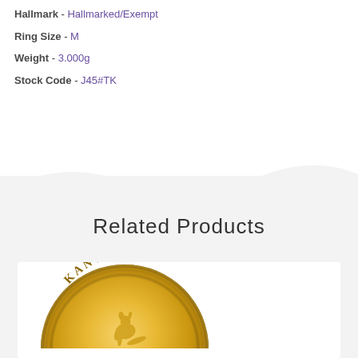Hallmark - Hallmarked/Exempt
Ring Size - M
Weight - 3.000g
Stock Code - J45#TK
Related Products
[Figure (photo): Gold Kangaroo coin, partially visible, showing 'KANGARO' text and a kangaroo motif on a gold background]